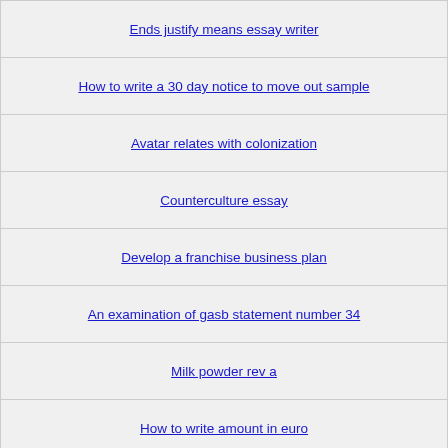Ends justify means essay writer
How to write a 30 day notice to move out sample
Avatar relates with colonization
Counterculture essay
Develop a franchise business plan
An examination of gasb statement number 34
Milk powder rev a
How to write amount in euro
Penicillin the most impactful drug in
Ihab hassan postmodernism essay
Thesis Proposals | Communication